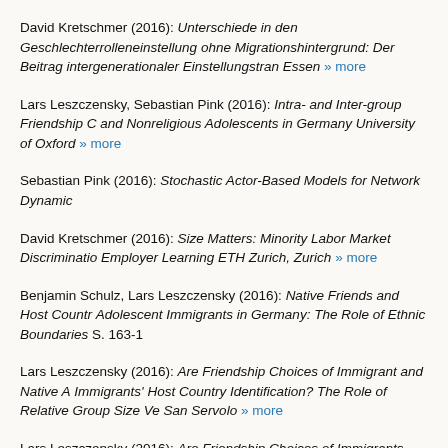David Kretschmer (2016): Unterschiede in den Geschlechterrolleneinstellung ohne Migrationshintergrund: Der Beitrag intergenerationaler Einstellungstran Essen » more
Lars Leszczensky, Sebastian Pink (2016): Intra- and Inter-group Friendship C and Nonreligious Adolescents in Germany University of Oxford » more
Sebastian Pink (2016): Stochastic Actor-Based Models for Network Dynamic
David Kretschmer (2016): Size Matters: Minority Labor Market Discriminatio Employer Learning ETH Zurich, Zurich » more
Benjamin Schulz, Lars Leszczensky (2016): Native Friends and Host Countr Adolescent Immigrants in Germany: The Role of Ethnic Boundaries S. 163-1
Lars Leszczensky (2016): Are Friendship Choices of Immigrant and Native A Immigrants' Host Country Identification? The Role of Relative Group Size Ve San Servolo » more
Lars Leszczensky (2016): Are Friendship Choices of Immigrants and Natives Country Identification? The Role of Relative Group Size Utrecht University »